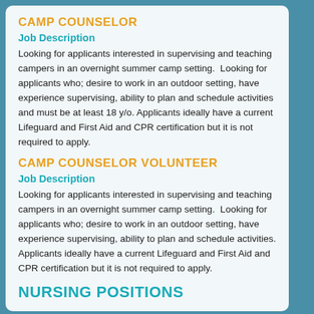CAMP COUNSELOR
Job Description
Looking for applicants interested in supervising and teaching campers in an overnight summer camp setting.  Looking for applicants who; desire to work in an outdoor setting, have experience supervising, ability to plan and schedule activities and must be at least 18 y/o. Applicants ideally have a current Lifeguard and First Aid and CPR certification but it is not required to apply.
CAMP COUNSELOR VOLUNTEER
Job Description
Looking for applicants interested in supervising and teaching campers in an overnight summer camp setting.  Looking for applicants who; desire to work in an outdoor setting, have experience supervising, ability to plan and schedule activities. Applicants ideally have a current Lifeguard and First Aid and CPR certification but it is not required to apply.
NURSING POSITIONS